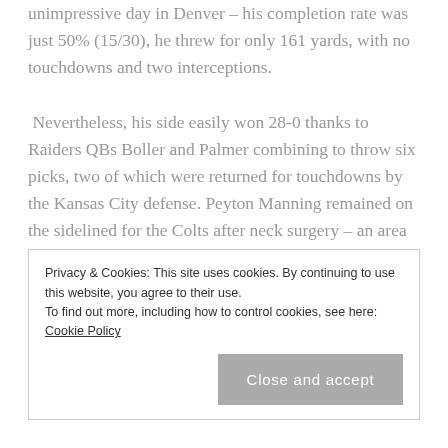unimpressive day in Denver – his completion rate was just 50% (15/30), he threw for only 161 yards, with no touchdowns and two interceptions. Nevertheless, his side easily won 28-0 thanks to Raiders QBs Boller and Palmer combining to throw six picks, two of which were returned for touchdowns by the Kansas City defense. Peyton Manning remained on the sidelined for the Colts after neck surgery – an area of his body that would not have got much exercise during Sunday night's game with the Saints – it was one way traffic as New Orleans spent most of the game driving towards the
Privacy & Cookies: This site uses cookies. By continuing to use this website, you agree to their use.
To find out more, including how to control cookies, see here: Cookie Policy